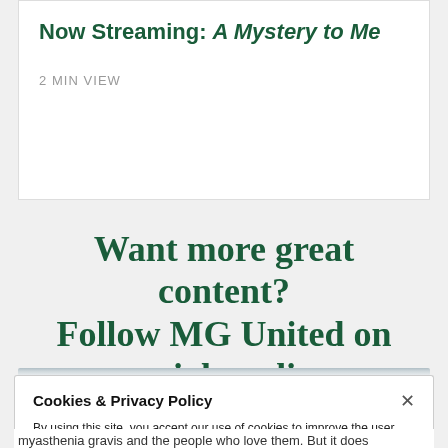Now Streaming: A Mystery to Me
2 MIN VIEW
Want more great content? Follow MG United on social media.
Cookies & Privacy Policy
By using this site, you accept our use of cookies to improve the user experience, analyze site usage, and assist in our marketing efforts. Please refer to these links to find out more about the updated argenx Privacy Policy and Cookie Policy.
myasthenia gravis and the people who love them. But it does